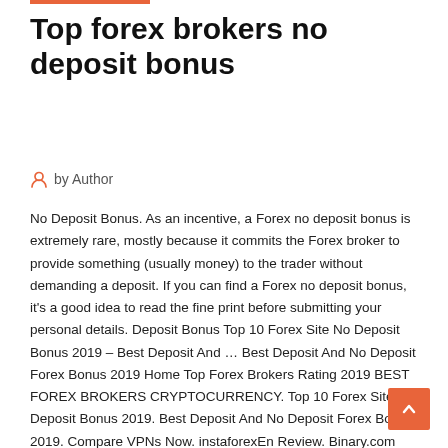Top forex brokers no deposit bonus
by Author
No Deposit Bonus. As an incentive, a Forex no deposit bonus is extremely rare, mostly because it commits the Forex broker to provide something (usually money) to the trader without demanding a deposit. If you can find a Forex no deposit bonus, it's a good idea to read the fine print before submitting your personal details. Deposit Bonus Top 10 Forex Site No Deposit Bonus 2019 – Best Deposit And … Best Deposit And No Deposit Forex Bonus 2019 Home Top Forex Brokers Rating 2019 BEST FOREX BROKERS CRYPTOCURRENCY. Top 10 Forex Site No Deposit Bonus 2019. Best Deposit And No Deposit Forex Bonus 2019. Compare VPNs Now. instaforexEn Review. Binary.com Review Review. IC …
Best Forex Bonus for Traders 2020 | DailyForex No Deposit Bonus As an incentive, Forex no deposit bonus...